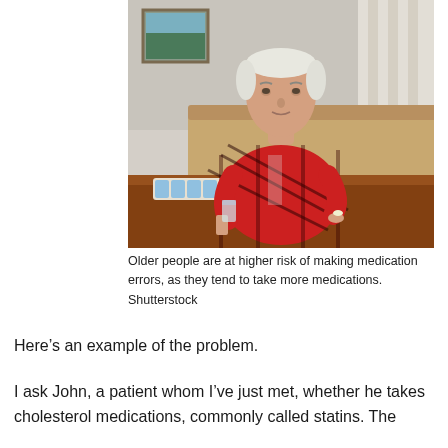[Figure (photo): An elderly man in a red plaid shirt sitting at a wooden table, holding a glass of water and a pill. On the table are a pill organizer and medication bottles.]
Older people are at higher risk of making medication errors, as they tend to take more medications.
Shutterstock
Here’s an example of the problem.
I ask John, a patient whom I’ve just met, whether he takes cholesterol medications, commonly called statins. The